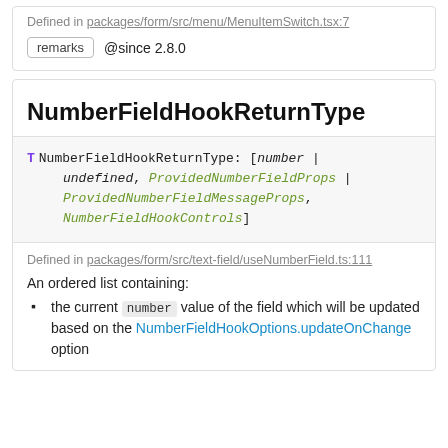Defined in packages/form/src/menu/MenuItemSwitch.tsx:7
remarks @since 2.8.0
NumberFieldHookReturnType
T NumberFieldHookReturnType: [number | undefined, ProvidedNumberFieldProps | ProvidedNumberFieldMessageProps, NumberFieldHookControls]
Defined in packages/form/src/text-field/useNumberField.ts:111
An ordered list containing:
the current number value of the field which will be updated based on the NumberFieldHookOptions.updateOnChange option